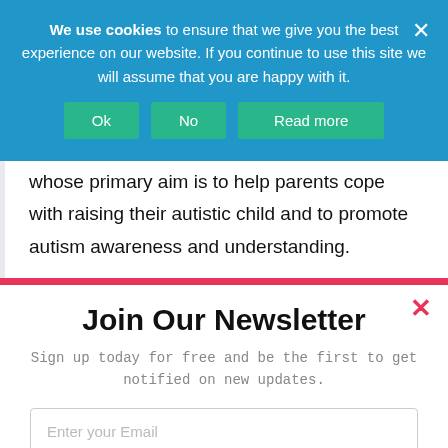We use cookies to ensure that we give you the best experience on our website. If you continue to use this site we will assume that you are happy with it.
whose primary aim is to help parents cope with raising their autistic child and to promote autism awareness and understanding.
Join Our Newsletter
Sign up today for free and be the first to get notified on new updates.
Enter your Email
Subscribe Now
No Thanks